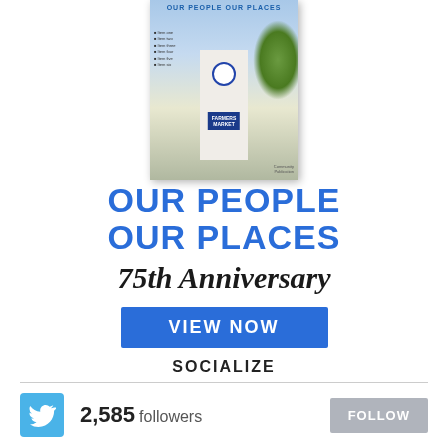[Figure (illustration): Magazine cover showing a clock tower building with 'FARMERS MARKET' sign, trees/foliage, blue sky background, with text 'OUR PEOPLE OUR PLACES' at top]
OUR PEOPLE OUR PLACES
75th Anniversary
VIEW NOW
SOCIALIZE
2,585 followers
FOLLOW